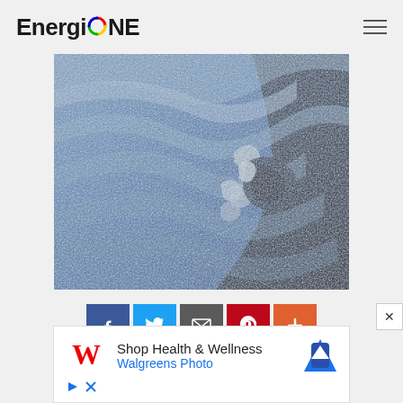EnergiONE
[Figure (photo): Close-up detail of a wave painting in blue shades, resembling Hokusai's Great Wave style, showing curling water and foam]
[Figure (infographic): Social sharing buttons row: Facebook (blue), Twitter (light blue), Email (dark gray), Pinterest (red), More/Plus (orange-red)]
[Figure (other): Advertisement banner: Walgreens 'Shop Health & Wellness / Walgreens Photo' with red Walgreens W logo and blue navigation arrow icon. Below: ad disclosure icons (play triangle and X).]